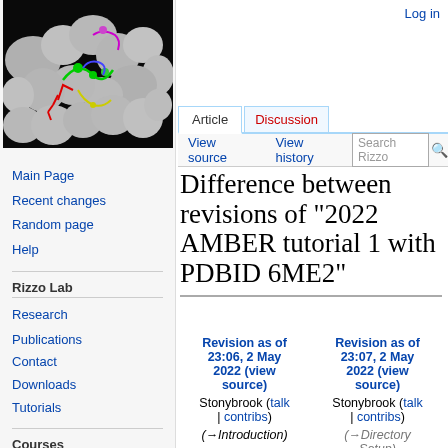Log in
[Figure (photo): Molecular visualization showing a protein surface (gray blobs) with colored molecular structures (green, red, yellow, purple, blue) inside a binding pocket, on black background]
Main Page
Recent changes
Random page
Help
Rizzo Lab
Research
Publications
Contact
Downloads
Tutorials
Courses
AMS-531
Difference between revisions of "2022 AMBER tutorial 1 with PDBID 6ME2"
| Revision as of 23:06, 2 May 2022 (view source) | Revision as of 23:07, 2 May 2022 (view source) |
| --- | --- |
| Stonybrook (talk | contribs) | Stonybrook (talk | contribs) |
| (→Introduction) | (→Directory Setup) |
| ← Previous diff |  |